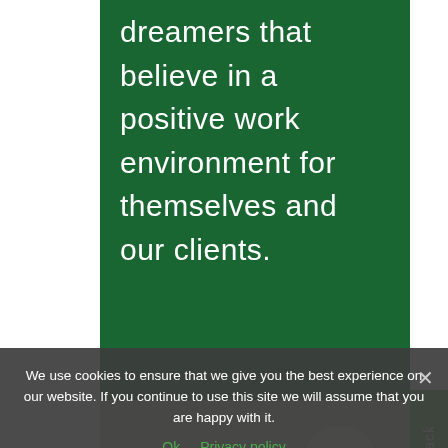dreamers that believe in a positive work environment for themselves and our clients.
[Figure (photo): Blurred photo of a laptop on a desk with a plant and coffee cup in the background, showing a colorful screen]
Feedback
We use cookies to ensure that we give you the best experience on our website. If you continue to use this site we will assume that you are happy with it.
Ok   Privacy policy